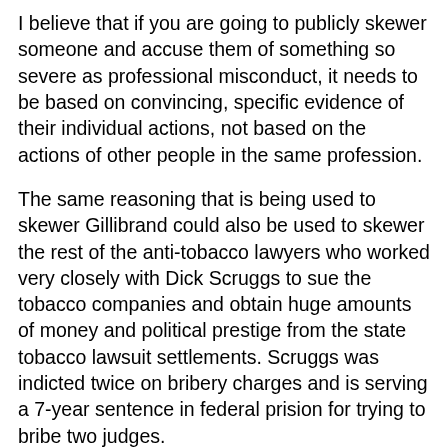I believe that if you are going to publicly skewer someone and accuse them of something so severe as professional misconduct, it needs to be based on convincing, specific evidence of their individual actions, not based on the actions of other people in the same profession.
The same reasoning that is being used to skewer Gillibrand could also be used to skewer the rest of the anti-tobacco lawyers who worked very closely with Dick Scruggs to sue the tobacco companies and obtain huge amounts of money and political prestige from the state tobacco lawsuit settlements. Scruggs was indicted twice on bribery charges and is serving a 7-year sentence in federal prision for trying to bribe two judges.
Just because Scruggs was an unethical criminal guilty of professional misconduct, does that mean that the rest of the anti-tobacco lawyers who worked on the state tobacco lawsuits also were of a similar ethical character?
Guilt by association can be a dangerous tactic and can lead to some very unfortunate consequences. That's why I find